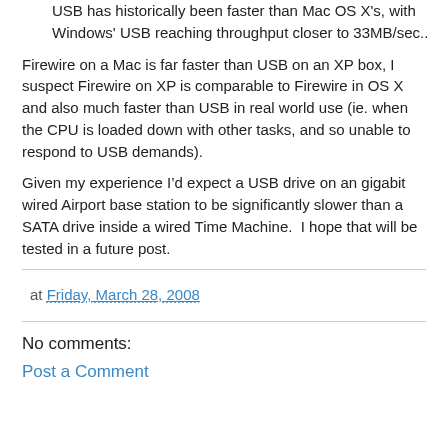USB has historically been faster than Mac OS X's, with Windows' USB reaching throughput closer to 33MB/sec..
Firewire on a Mac is far faster than USB on an XP box, I suspect Firewire on XP is comparable to Firewire in OS X and also much faster than USB in real world use (ie. when the CPU is loaded down with other tasks, and so unable to respond to USB demands).
Given my experience I’d expect a USB drive on an gigabit wired Airport base station to be significantly slower than a SATA drive inside a wired Time Machine.  I hope that will be tested in a future post.
at Friday, March 28, 2008
No comments:
Post a Comment